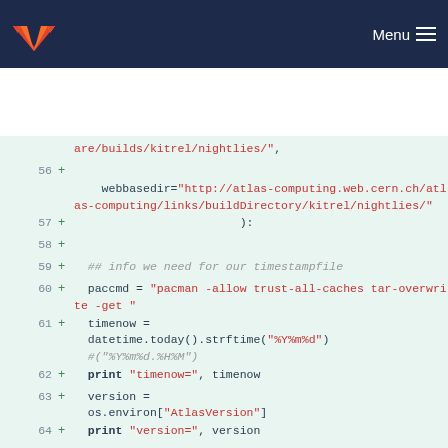GitLab Menu
[Figure (screenshot): GitLab code diff view showing Python script lines 56-65 with additions marked with + signs. Lines include webbasedir URL, datetime/timenow logic, paccmd pacman command, print statements, version and area variable assignments.]